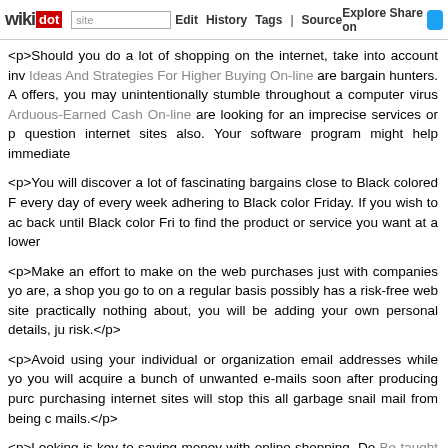wikidot | site | Edit | History | Tags | Source | Explore | Share on Twitter
<p>Should you do a lot of shopping on the internet, take into account inv Ideas And Strategies For Higher Buying On-line are bargain hunters. A offers, you may unintentionally stumble throughout a computer virus Arduous-Earned Cash On-line are looking for an imprecise services or p question internet sites also. Your software program might help immediate
<p>You will discover a lot of fascinating bargains close to Black colored F every day of every week adhering to Black color Friday. If you wish to ac back until Black color Fri to find the product or service you want at a lower
<p>Make an effort to make on the web purchases just with companies yo are, a shop you go to on a regular basis possibly has a risk-free web site practically nothing about, you will be adding your own personal details, ju risk.</p>
<p>Avoid using your individual or organization email addresses while yo you will acquire a bunch of unwanted e-mails soon after producing purc purchasing internet sites will stop this all garbage snail mail from being c mails.</p>
<p>Looking is key to saving money with online shopping. Do Be taught T This article for anything you wish to purchase. You can use a classic sear shopping-distinct generator like Shopping.com so that you can more easi their pricing is.</p>
<p>Most of us have a beloved shop - are you presently after the p Otherwise, you have to be! Firms often broadcast special deals or sales and through looking at their Fb webpage or Twitter bank account on a re that you just so also might have missed out on.</p>